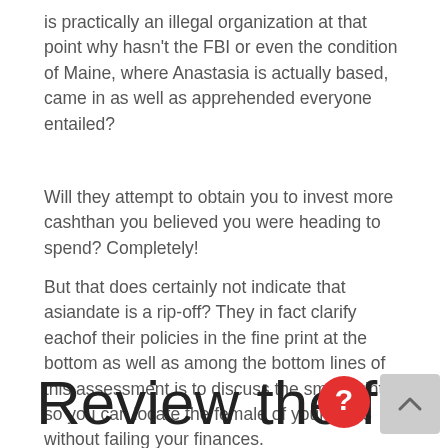is practically an illegal organization at that point why hasn't the FBI or even the condition of Maine, where Anastasia is actually based, came in as well as apprehended everyone entailed?
Will they attempt to obtain you to invest more cashthan you believed you were heading to spend? Completely!
But that does certainly not indicate that asiandate is a rip-off? They in fact clarify eachof their policies in the fine print at the bottom as well as among the bottom lines of this assessment is to discuss the small print, so you can locate the female of your goals without failing your finances.
Review the fi...